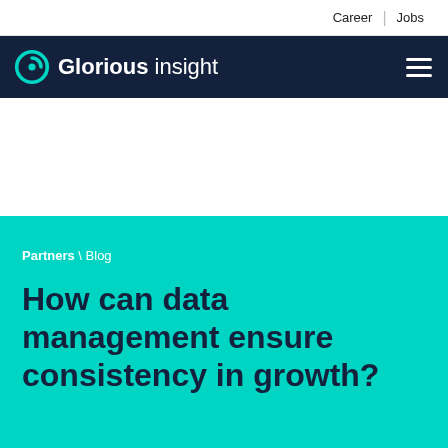Career | Jobs
Glorious insight
Partners \ Blog
How can data management ensure consistency in growth?